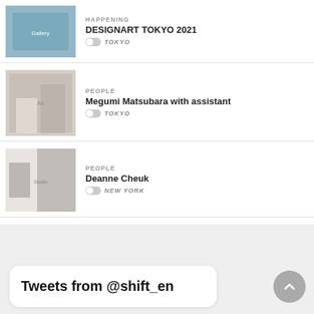HAPPENING — DESIGNART TOKYO 2021 — TOKYO
PEOPLE — Megumi Matsubara with assistant — TOKYO
PEOPLE — Deanne Cheuk — NEW YORK
HAPPENING — Ren Hang "Human Love" — STOCKHOLM
[Figure (screenshot): Tweets from @shift_en widget box with back-to-top button]
Tweets from @shift_en